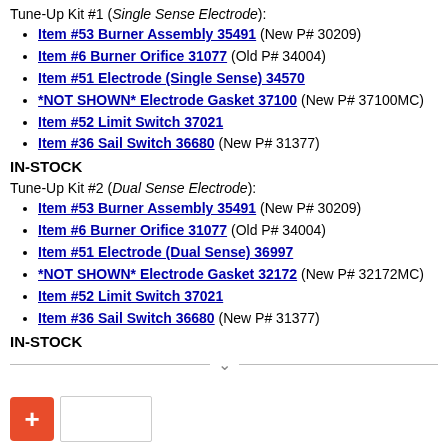Tune-Up Kit #1 (Single Sense Electrode):
Item #53 Burner Assembly 35491 (New P# 30209)
Item #6 Burner Orifice 31077 (Old P# 34004)
Item #51 Electrode (Single Sense) 34570
*NOT SHOWN* Electrode Gasket 37100 (New P# 37100MC)
Item #52 Limit Switch 37021
Item #36 Sail Switch 36680 (New P# 31377)
IN-STOCK
Tune-Up Kit #2 (Dual Sense Electrode):
Item #53 Burner Assembly 35491 (New P# 30209)
Item #6 Burner Orifice 31077 (Old P# 34004)
Item #51 Electrode (Dual Sense) 36997
*NOT SHOWN* Electrode Gasket 32172 (New P# 32172MC)
Item #52 Limit Switch 37021
Item #36 Sail Switch 36680 (New P# 31377)
IN-STOCK